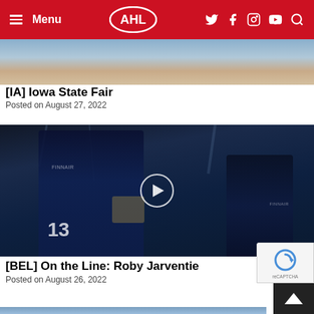AHL - Menu navigation bar with AHL logo and social icons
[Figure (photo): Partial image of Iowa State Fair event]
[IA] Iowa State Fair
Posted on August 27, 2022
[Figure (photo): Video thumbnail showing hockey player wearing Finland national team jersey #13 (Suomi/Finnair sponsor), with play button overlay. A second player visible in background.]
[BEL] On the Line: Roby Jarventie
Posted on August 26, 2022